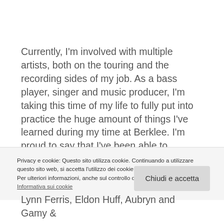Currently, I'm involved with multiple artists, both on the touring and the recording sides of my job. As a bass player, singer and music producer, I'm taking this time of my life to fully put into practice the huge amount of things I've learned during my time at Berklee. I'm proud to say that I've been able to financially live well this year by just working as a full-time bass player for artists in the
Privacy e cookie: Questo sito utilizza cookie. Continuando a utilizzare questo sito web, si accetta l'utilizzo dei cookie. Per ulteriori informazioni, anche sul controllo dei cookie, leggi qui: Informativa sui cookie
Lynn Ferris, Eldon Huff, Aubryn and Gamy &